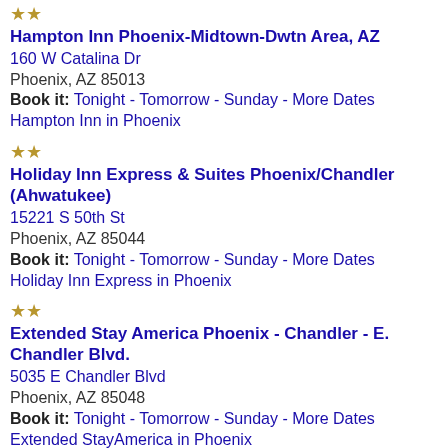★★ Hampton Inn Phoenix-Midtown-Dwtn Area, AZ
160 W Catalina Dr
Phoenix, AZ 85013
Book it: Tonight - Tomorrow - Sunday - More Dates
Hampton Inn in Phoenix
★★ Holiday Inn Express & Suites Phoenix/Chandler (Ahwatukee)
15221 S 50th St
Phoenix, AZ 85044
Book it: Tonight - Tomorrow - Sunday - More Dates
Holiday Inn Express in Phoenix
★★ Extended Stay America Phoenix - Chandler - E. Chandler Blvd.
5035 E Chandler Blvd
Phoenix, AZ 85048
Book it: Tonight - Tomorrow - Sunday - More Dates
Extended StayAmerica in Phoenix